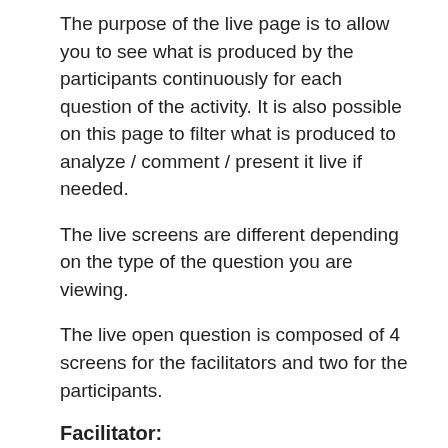The purpose of the live page is to allow you to see what is produced by the participants continuously for each question of the activity. It is also possible on this page to filter what is produced to analyze / comment / present it live if needed.
The live screens are different depending on the type of the question you are viewing.
The live open question is composed of 4 screens for the facilitators and two for the participants.
Facilitator:
List view of answers with the possibility to filter and sort the results
Word cloud view allowing to directly the